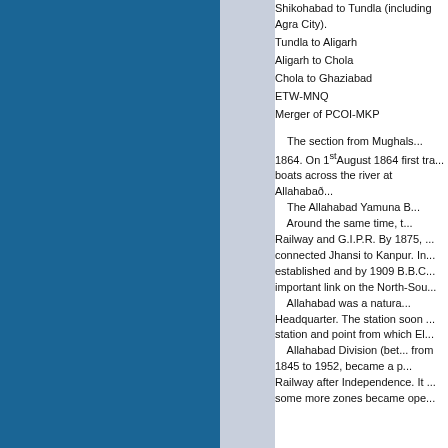Shikohabad to Tundla (including Agra City).
Tundla to Aligarh
Aligarh to Chola
Chola to Ghaziabad
ETW-MNQ
Merger of PCOI-MKP
The section from Mughals... 1864. On 1st August 1864 first tra... boats across the river at Allahabað... The Allahabad Yamuna B... Around the same time, t... Railway and G.I.P.R. By 1875, ... connected Jhansi to Kanpur. In... established and by 1909 B.B.C... important link on the North-Sou... Allahabad was a natura... Headquarter. The station soon ... station and point from which El... Allahabad Division (bet... from 1845 to 1952, became a p... Railway after Independence. It ... some more zones became ope...